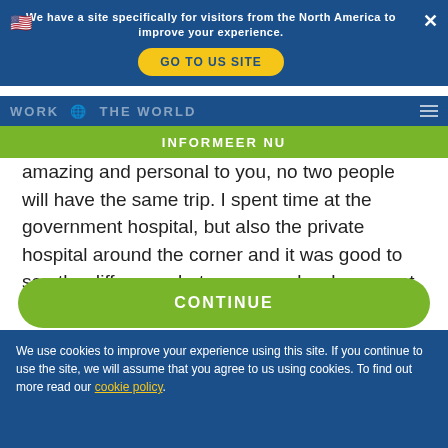We have a site specifically for visitors from the North America to improve your experience.
GO TO US SITE
INFORMEER NU
amazing and personal to you, no two people will have the same trip. I spent time at the government hospital, but also the private hospital around the corner and it was good to see the difference between people who cannot afford healthcare and those who can.

Advice that I would give to students who are thinking of going, would be go for it! It is the best thing I have
CONTINUE
We use cookies to improve your experience using this site. If you continue to use the site, we will assume that you agree to us using cookies. To find out more read our cookie policy.